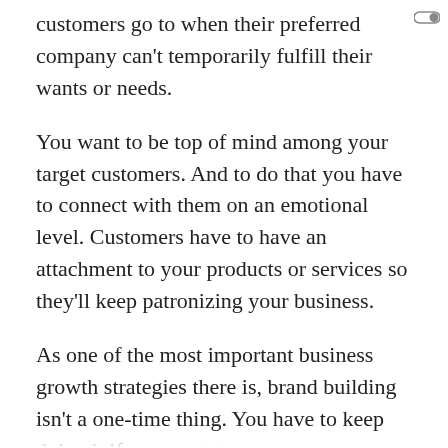customers go to when their preferred company can't temporarily fulfill their wants or needs.
You want to be top of mind among your target customers. And to do that you have to connect with them on an emotional level. Customers have to have an attachment to your products or services so they'll keep patronizing your business.
As one of the most important business growth strategies there is, brand building isn't a one-time thing. You have to keep doing it if you want to grow.